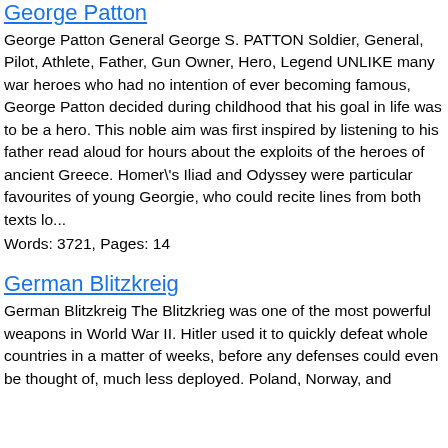George Patton
George Patton General George S. PATTON Soldier, General, Pilot, Athlete, Father, Gun Owner, Hero, Legend UNLIKE many war heroes who had no intention of ever becoming famous, George Patton decided during childhood that his goal in life was to be a hero. This noble aim was first inspired by listening to his father read aloud for hours about the exploits of the heroes of ancient Greece. Homer's Iliad and Odyssey were particular favourites of young Georgie, who could recite lines from both texts lo...
Words: 3721, Pages: 14
German Blitzkreig
German Blitzkreig The Blitzkrieg was one of the most powerful weapons in World War II. Hitler used it to quickly defeat whole countries in a matter of weeks, before any defenses could even be thought of, much less deployed. Poland, Norway, and